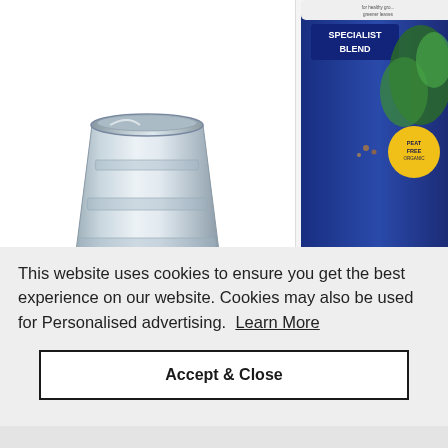[Figure (photo): Silver galvanised steel bucket/pail with ridged bands, photographed on white background]
HARRIS
13 Litre Galvanised Steel Bucket Pail with Wooden Handle
[Figure (photo): Westland Houseplant Potting mix bag, blue packaging with green plant imagery, partially cropped]
WESTLAND
Houseplant Potting 8L
£5.99
This website uses cookies to ensure you get the best experience on our website. Cookies may also be used for Personalised advertising.  Learn More
Accept & Close